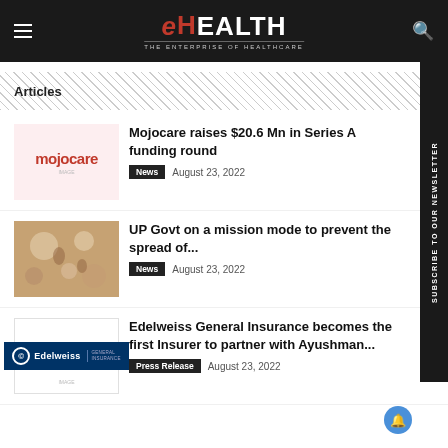eHealth – The Enterprise of Healthcare
Articles
[Figure (logo): Mojocare logo on light pink background]
Mojocare raises $20.6 Mn in Series A funding round
News  August 23, 2022
[Figure (photo): Microscopic tissue/pathology image with brown and beige tones]
UP Govt on a mission mode to prevent the spread of...
News  August 23, 2022
[Figure (logo): Edelweiss General Insurance logo on dark blue background]
Edelweiss General Insurance becomes the first Insurer to partner with Ayushman...
Press Release  August 23, 2022